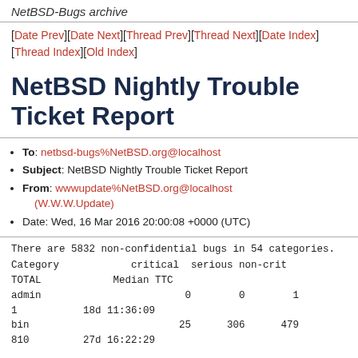NetBSD-Bugs archive
[Date Prev][Date Next][Thread Prev][Thread Next][Date Index][Thread Index][Old Index]
NetBSD Nightly Trouble Ticket Report
To: netbsd-bugs%NetBSD.org@localhost
Subject: NetBSD Nightly Trouble Ticket Report
From: wwwupdate%NetBSD.org@localhost (W.W.W.Update)
Date: Wed, 16 Mar 2016 20:00:08 +0000 (UTC)
There are 5832 non-confidential bugs in 54 categories.
| Category | critical | serious | non-crit | TOTAL | Median TTC |
| --- | --- | --- | --- | --- | --- |
| admin | 0 | 0 | 1 | 1 | 18d 11:36:09 |
| bin | 25 | 306 | 479 | 810 | 27d 16:22:29 |